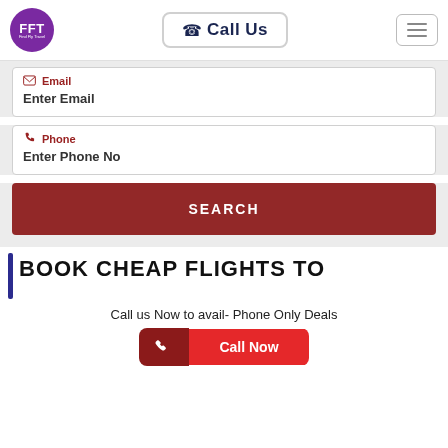FFT Call Us (navigation bar with logo and hamburger menu)
Email
Enter Email
Phone
Enter Phone No
SEARCH
BOOK CHEAP FLIGHTS TO
Call us Now to avail- Phone Only Deals
Call Now